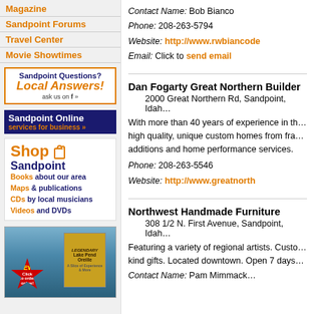Magazine
Sandpoint Forums
Travel Center
Movie Showtimes
Sandpoint Questions? Local Answers! ask us on »
Sandpoint Online services for business »
Shop Sandpoint
Books about our area
Maps & publications
CDs by local musicians
Videos and DVDs
[Figure (photo): Book cover for 'Legendary Lake Pend Oreille' with NEW! Click to order online starburst]
Contact Name: Bob Bianco
Phone: 208-263-5794
Website: http://www.rwbiancode
Email: Click to send email
Dan Fogarty Great Northern Builder
2000 Great Northern Rd, Sandpoint, Idaho
With more than 40 years of experience in the high quality, unique custom homes from fra... additions and home performance services.
Phone: 208-263-5546
Website: http://www.greatnorth
Northwest Handmade Furniture
308 1/2 N. First Avenue, Sandpoint, Idaho
Featuring a variety of regional artists. Custo... kind gifts. Located downtown. Open 7 days
Contact Name: Pam Mimmack